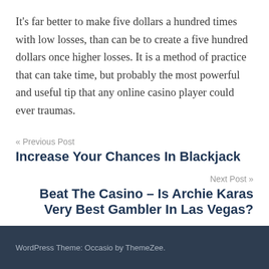It's far better to make five dollars a hundred times with low losses, than can be to create a five hundred dollars once higher losses. It is a method of practice that can take time, but probably the most powerful and useful tip that any online casino player could ever traumas.
« Previous Post
Increase Your Chances In Blackjack
Next Post »
Beat The Casino – Is Archie Karas Very Best Gambler In Las Vegas?
WordPress Theme: Occasio by ThemeZee.